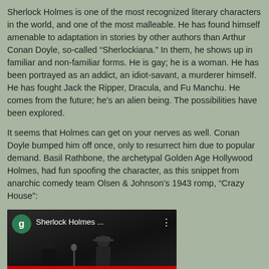Sherlock Holmes is one of the most recognized literary characters in the world, and one of the most malleable. He has found himself amenable to adaptation in stories by other authors than Arthur Conan Doyle, so-called “Sherlockiana.” In them, he shows up in familiar and non-familiar forms. He is gay; he is a woman. He has been portrayed as an addict, an idiot-savant, a murderer himself. He has fought Jack the Ripper, Dracula, and Fu Manchu. He comes from the future; he’s an alien being. The possibilities have been explored.
It seems that Holmes can get on your nerves as well. Conan Doyle bumped him off once, only to resurrect him due to popular demand. Basil Rathbone, the archetypal Golden Age Hollywood Holmes, had fun spoofing the character, as this snippet from anarchic comedy team Olsen & Johnson’s 1943 romp, “Crazy House”:
[Figure (screenshot): YouTube video thumbnail showing a dark black-and-white film still. A green circle avatar with letter 'g' is in the top-left, followed by the title 'Sherlock Holmes ...' and a vertical dots menu icon. The video shows silhouetted figures from the 1943 film 'Crazy House', with a red progress bar at the bottom.]